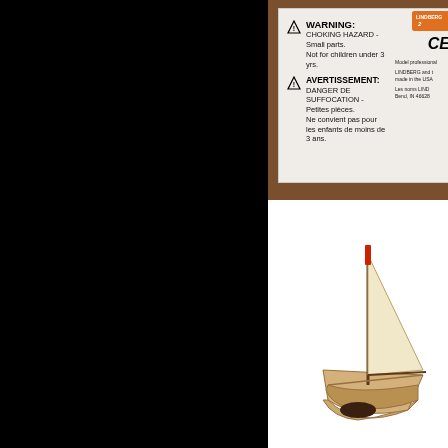[Figure (photo): Left half of page is solid black area, likely cropped/shadow region of product packaging photo]
[Figure (photo): Top right: product packaging label on brown wood background showing WARNING choking hazard notice in English and French AVERTISSEMENT, CE mark, brand logo, and small side text about LINDBERG]
[Figure (photo): Bottom right: white background with partial view of a wooden model sailing boat with red mast/sail detail, natural wood color hull]